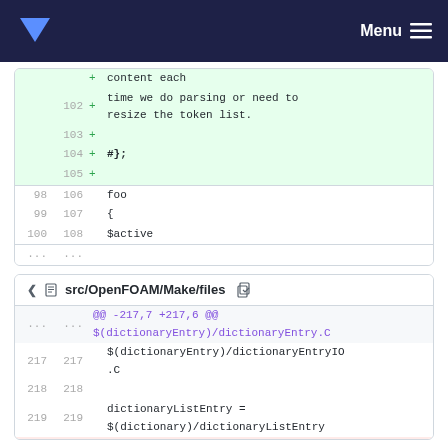▼   Menu ≡
[Figure (screenshot): Code diff panel showing added lines 102-105 with content 'time we do parsing or need to resize the token list.' and '#};', followed by unchanged lines 98/106 foo, 99/107 {, 100/108 $active]
[Figure (screenshot): Code diff panel for src/OpenFOAM/Make/files showing hunk @@ -217,7 +217,6 @@, $(dictionaryEntry)/dictionaryEntry.C lines, $(dictionaryEntry)/dictionaryEntryIO.C line 217, blank line 218, and dictionaryListEntry = $(dictionary)/dictionaryListEntry line 219]